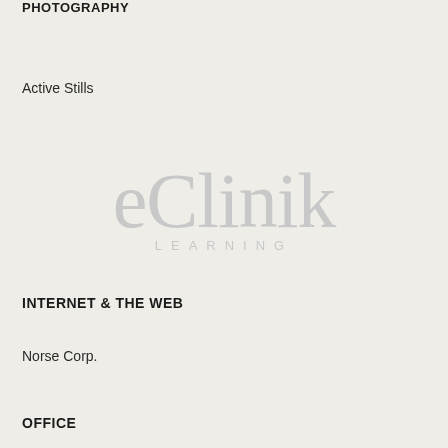PHOTOGRAPHY
Active Stills
[Figure (logo): eClinik LEARNING watermark logo in light gray]
INTERNET & THE WEB
Norse Corp.
OFFICE